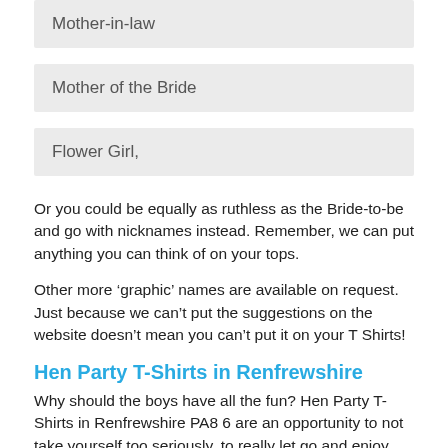Mother-in-law
Mother of the Bride
Flower Girl,
Or you could be equally as ruthless as the Bride-to-be and go with nicknames instead. Remember, we can put anything you can think of on your tops.
Other more ‘graphic’ names are available on request. Just because we can’t put the suggestions on the website doesn’t mean you can’t put it on your T Shirts!
Hen Party T-Shirts in Renfrewshire
Why should the boys have all the fun? Hen Party T-Shirts in Renfrewshire PA8 6 are an opportunity to not take yourself too seriously, to really let go and enjoy the shenanigans.
Whether the T-Shirts are having a laugh at the Bride’s expense, or